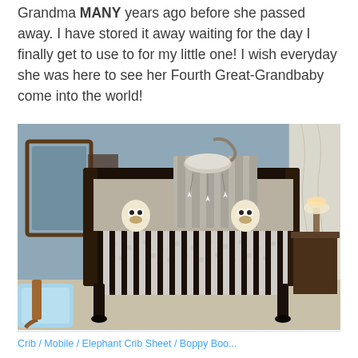Grandma MANY years ago before she passed away. I have stored it away waiting for the day I finally get to use to for my little one! I wish everyday she was here to see her Fourth Great-Grandbaby come into the world!
[Figure (photo): Photo of a dark wood baby crib in a nursery with grey walls. A mobile with star hangings is attached to the crib. Grey striped blanket draped on the crib rail. Two stuffed animal toys visible inside the crib. A mirror is on the left wall, a nightstand with a lamp on the right, and a blue bag on the lower left.]
Crib / Mobile / Elephant Crib Sheet / Boppy Boo...